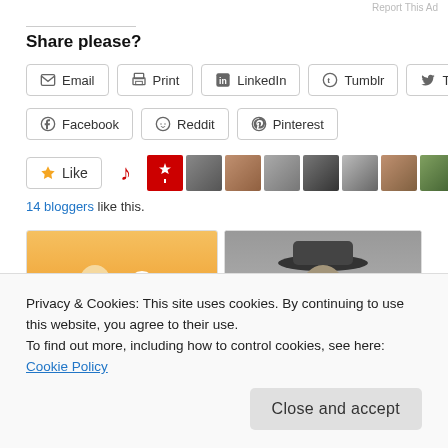Report This Ad
Share please?
[Figure (screenshot): Row of social share buttons: Email, Print, LinkedIn, Tumblr, Twitter]
[Figure (screenshot): Row of social share buttons: Facebook, Reddit, Pinterest]
[Figure (screenshot): Like button with star icon, followed by avatars of 14 bloggers who liked this]
14 bloggers like this.
[Figure (photo): Thumbnail image of Charlie Brown and Snoopy cartoon]
[Figure (photo): Thumbnail black and white photo of a man in a cowboy hat]
Privacy & Cookies: This site uses cookies. By continuing to use this website, you agree to their use.
To find out more, including how to control cookies, see here: Cookie Policy
Close and accept